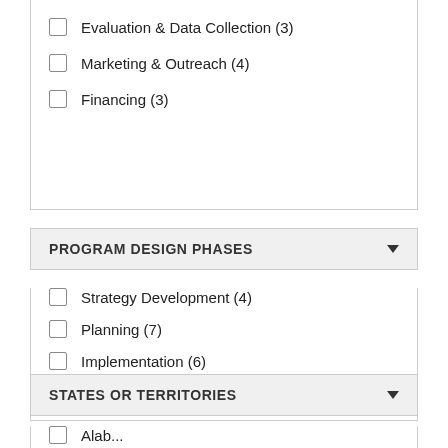Evaluation & Data Collection (3)
Marketing & Outreach (4)
Financing (3)
PROGRAM DESIGN PHASES
Strategy Development (4)
Planning (7)
Implementation (6)
Evaluation (3)
STATES OR TERRITORIES